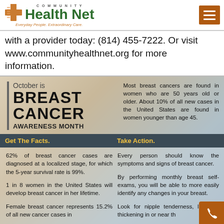[Figure (logo): Community Health Net logo with green cross icon and orange tagline 'Everyday People. Extraordinary Care.']
with a provider today: (814) 455-7222. Or visit www.communityhealthnet.org for more information.
[Figure (infographic): Breast Cancer Awareness Month infographic with facts and action items. Left column: 'October is BREAST CANCER AWARENESS MONTH' with vertical bar. Right column: 'Most breast cancers are found in women who are 50 years old or older. About 10% of all new cases in the United States are found in women younger than age 45.' Dark bar with 'Get The Facts.' and 'Take Action.' Bottom facts: '62% of breast cancer cases are diagnosed at a localized stage, for which the 5-year survival rate is 99%.' '1 in 8 women in the United States will develop breast cancer in her lifetime.' 'Female breast cancer represents 15.2% of all new cancer cases in'. Action: 'Every person should know the symptoms and signs of breast cancer.' 'By performing monthly breast self-exams, you will be able to more easily identify any changes in your breast.' 'Look for nipple tenderness, lump or thickening in or near th']